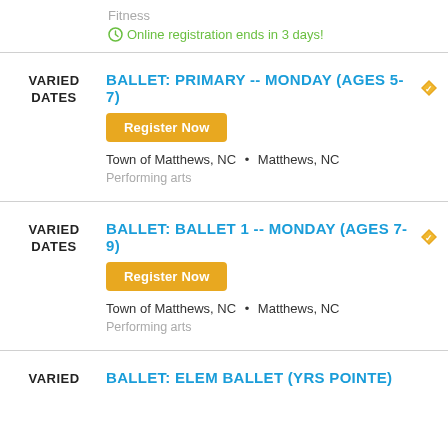Fitness
Online registration ends in 3 days!
VARIED DATES
BALLET: PRIMARY -- MONDAY (AGES 5-7)
Register Now
Town of Matthews, NC • Matthews, NC
Performing arts
VARIED DATES
BALLET: BALLET 1 -- MONDAY (AGES 7-9)
Register Now
Town of Matthews, NC • Matthews, NC
Performing arts
VARIED DATES
BALLET: ELEM BALLET (YRS POINTE)...